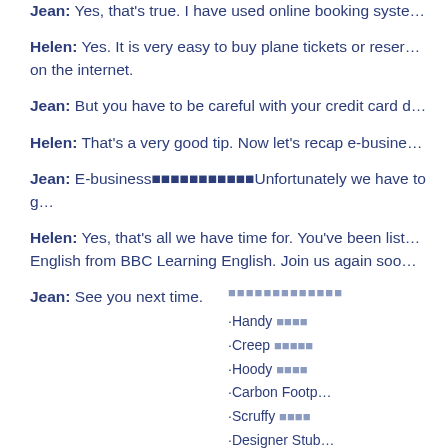Jean: Yes, that's true. I have used online booking syste...
Helen: Yes. It is very easy to buy plane tickets or reser... on the internet.
Jean: But you have to be careful with your credit card d...
Helen: That's a very good tip. Now let's recap e-busine...
Jean: E-business[CJK characters]Unfortunately we have to g...
Helen: Yes, that's all we have time for. You've been list... English from BBC Learning English. Join us again soo...
Jean: See you next time.
[CJK characters sidebar header]
·Handy [CJK characters]
·Creep [CJK characters]
·Hoody [CJK characters]
·Carbon Footp...
·Scruffy [CJK characters]
·Designer Stub...
·Tribute Band ...
·Teacher's ...